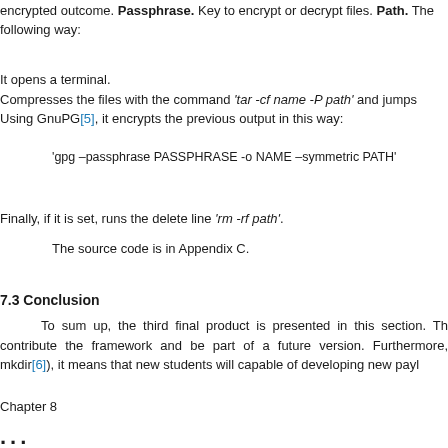encrypted outcome. Passphrase. Key to encrypt or decrypt files. Path. The following way:
It opens a terminal.
Compresses the files with the command 'tar -cf name -P path' and jumps
Using GnuPG[5], it encrypts the previous output in this way:
'gpg –passphrase PASSPHRASE -o NAME –symmetric PATH'
Finally, if it is set, runs the delete line 'rm -rf path'.
The source code is in Appendix C.
7.3 Conclusion
To sum up, the third final product is presented in this section. Th contribute the framework and be part of a future version. Furthermore, mkdir[6]), it means that new students will capable of developing new payl
Chapter 8
...